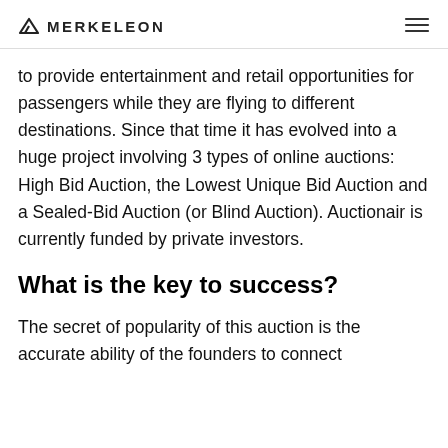MERKELEON
to provide entertainment and retail opportunities for passengers while they are flying to different destinations. Since that time it has evolved into a huge project involving 3 types of online auctions: High Bid Auction, the Lowest Unique Bid Auction and a Sealed-Bid Auction (or Blind Auction). Auctionair is currently funded by private investors.
What is the key to success?
The secret of popularity of this auction is the accurate ability of the founders to connect